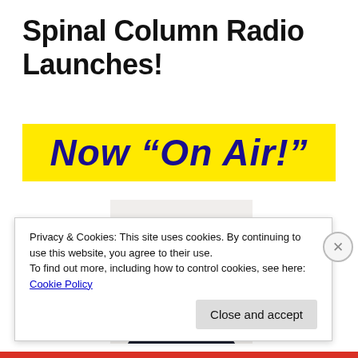Spinal Column Radio Launches!
[Figure (infographic): Yellow banner with bold dark blue italic text reading: Now “On Air!”]
[Figure (photo): Headshot of a man smiling, wearing a dark shirt, seated in front of a microphone.]
Privacy & Cookies: This site uses cookies. By continuing to use this website, you agree to their use.
To find out more, including how to control cookies, see here: Cookie Policy
Close and accept